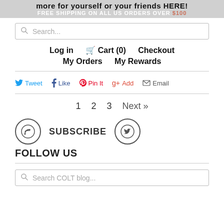more for yourself or your friends HERE! FREE SHIPPING ON ALL US ORDERS OVER $100
Search...
Log in  Cart (0)  Checkout  My Orders  My Rewards
Tweet  Like  Pin It  Add  Email
1  2  3  Next »
[Figure (infographic): Subscribe RSS icon circle and Twitter bird icon circle with SUBSCRIBE text between them]
FOLLOW US
Search COLT blog...